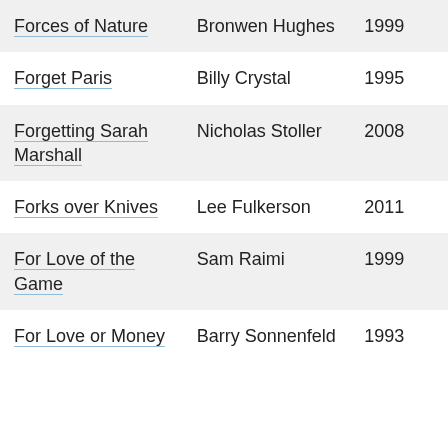| Film | Director | Year |
| --- | --- | --- |
| Forces of Nature | Bronwen Hughes | 1999 |
| Forget Paris | Billy Crystal | 1995 |
| Forgetting Sarah Marshall | Nicholas Stoller | 2008 |
| Forks over Knives | Lee Fulkerson | 2011 |
| For Love of the Game | Sam Raimi | 1999 |
| For Love or Money | Barry Sonnenfeld | 1993 |